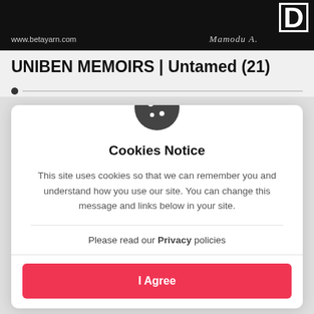[Figure (screenshot): Dark banner image with www.betayarn.com URL text on left, 'Mamodu A.' stylized text in center-right, and a bold 'D' letter icon on top right]
UNIBEN MEMOIRS | Untamed (21)
[Figure (infographic): Cookie consent modal dialog with cookie icon, 'Cookies Notice' heading, body text about site cookies, Privacy policies link, and 'I Agree' red button]
Cookies Notice
This site uses cookies so that we can remember you and understand how you use our site. You can change this message and links below in your site.
Please read our Privacy policies
I Agree